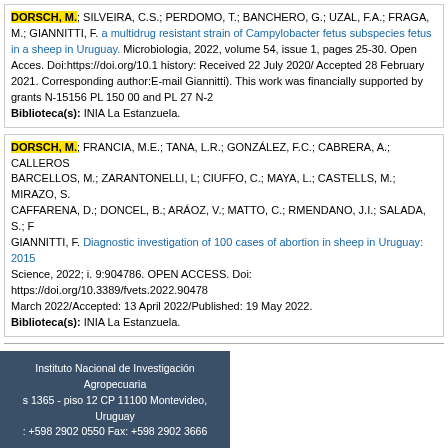DORSCH, M.; SILVEIRA, C.S.; PERDOMO, T.; BANCHERO, G.; UZAL, F.A.; FRAGA, M.; GIANNITTI, F. [link: a multidrug resistant strain of Campylobacter fetus subspecies fetus in a sheep in Uruguay] Microbiologia, 2022, volume 54, issue 1, pages 25-30. Open Acces. Doi:https://doi.org/10.1... history: Received 22 July 2020/ Accepted 28 February 2021. Corresponding author:E-mail Giannitti). This work was financially supported by grants N-15156 PL 150 00 and PL 27 N-2... Biblioteca(s): INIA La Estanzuela.
DORSCH, M.; FRANCIA, M.E.; TANA, L.R.; GONZÁLEZ, F.C.; CABRERA, A.; CALLEROS... BARCELLOS, M.; ZARANTONELLI, L; CIUFFO, C.; MAYA, L.; CASTELLS, M.; MIRAZO, S... CAFFARENA, D.; DONCEL, B.; ARÁOZ, V.; MATTO, C.; RMENDANO, J.I.; SALADA, S.; F... GIANNITTI, F. [link: Diagnostic investigation of 100 cases of abortion in sheep in Uruguay: 2015...] Science, 2022; i. 9:904786. OPEN ACCESS. Doi: https://doi.org/10.3389/fvets.2022.90478... March 2022/Accepted: 13 April 2022/Published: 19 May 2022. Biblioteca(s): INIA La Estanzuela.
tros recuperados : 8
Instituto Nacional de Investigación Agropecuaria
s 1365 - piso 12 CP 11100 Montevideo, Uruguay
: +598 2902 0550 Fax: +598 2902 3666